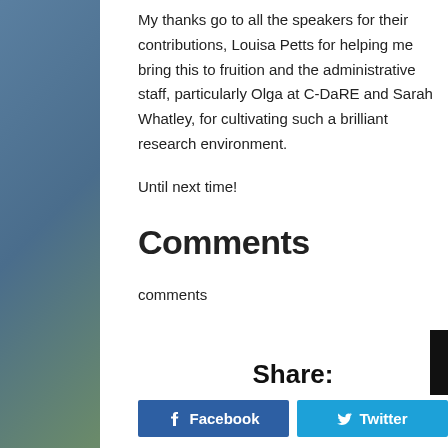My thanks go to all the speakers for their contributions, Louisa Petts for helping me bring this to fruition and the administrative staff, particularly Olga at C-DaRE and Sarah Whatley, for cultivating such a brilliant research environment.
Until next time!
Comments
comments
Share:
Facebook  Twitter